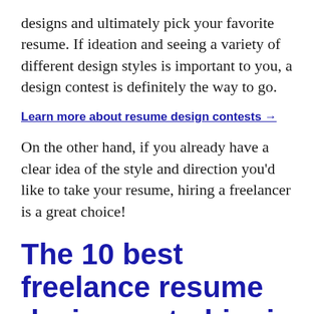designs and ultimately pick your favorite resume. If ideation and seeing a variety of different design styles is important to you, a design contest is definitely the way to go.
Learn more about resume design contests →
On the other hand, if you already have a clear idea of the style and direction you'd like to take your resume, hiring a freelancer is a great choice!
The 10 best freelance resume designers to hire in 2022